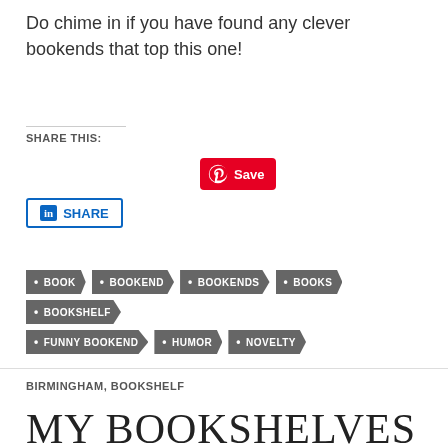Do chime in if you have found any clever bookends that top this one!
SHARE THIS:
[Figure (other): Pinterest Save button (red) and LinkedIn Share button (blue outline)]
BOOK
BOOKEND
BOOKENDS
BOOKS
BOOKSHELF
FUNNY BOOKEND
HUMOR
NOVELTY
BIRMINGHAM, BOOKSHELF
MY BOOKSHELVES